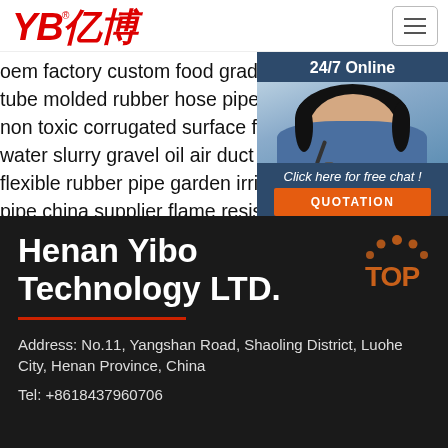[Figure (logo): YB亿博 logo in red italic bold text]
oem factory custom food grade mold clear rubber tube molded rubber hose pipe elbow
non toxic corrugated surface flexible water rubber water slurry gravel oil air duct
flexible rubber pipe garden irrigation water hose pipe china supplier flame resisting 5 8 inch tube
[Figure (photo): Customer service representative with headset, 24/7 Online chat widget with orange QUOTATION button]
Henan Yibo Technology LTD.
Address: No.11, Yangshan Road, Shaoling District, Luohe City, Henan Province, China
Tel: +8618437960706